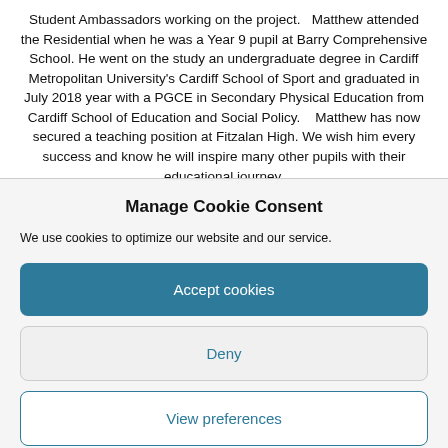Student Ambassadors working on the project.   Matthew attended the Residential when he was a Year 9 pupil at Barry Comprehensive School. He went on the study an undergraduate degree in Cardiff Metropolitan University's Cardiff School of Sport and graduated in July 2018 year with a PGCE in Secondary Physical Education from Cardiff School of Education and Social Policy.    Matthew has now secured a teaching position at Fitzalan High. We wish him every success and know he will inspire many other pupils with their educational journey.
Manage Cookie Consent
We use cookies to optimize our website and our service.
Accept cookies
Deny
View preferences